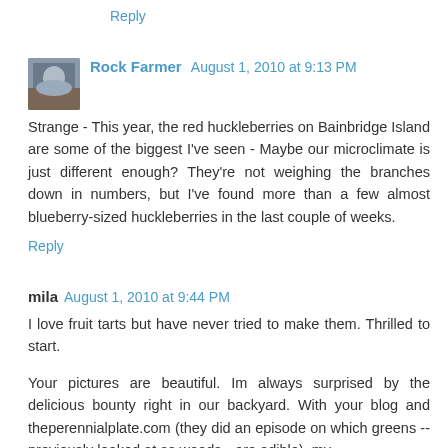Reply
Rock Farmer  August 1, 2010 at 9:13 PM
Strange - This year, the red huckleberries on Bainbridge Island are some of the biggest I've seen - Maybe our microclimate is just different enough? They're not weighing the branches down in numbers, but I've found more than a few almost blueberry-sized huckleberries in the last couple of weeks.
Reply
mila  August 1, 2010 at 9:44 PM
I love fruit tarts but have never tried to make them. Thrilled to start.
Your pictures are beautiful. Im always surprised by the delicious bounty right in our backyard. With your blog and theperennialplate.com (they did an episode on which greens --previously looked at as weeds-- are edible), my